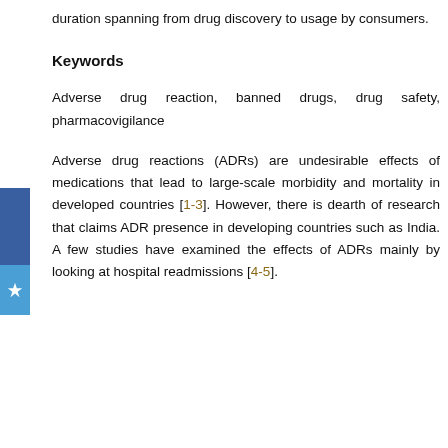duration spanning from drug discovery to usage by consumers.
Keywords
Adverse drug reaction, banned drugs, drug safety, pharmacovigilance
Adverse drug reactions (ADRs) are undesirable effects of medications that lead to large-scale morbidity and mortality in developed countries [1-3]. However, there is dearth of research that claims ADR presence in developing countries such as India. A few studies have examined the effects of ADRs mainly by looking at hospital readmissions [4-5].